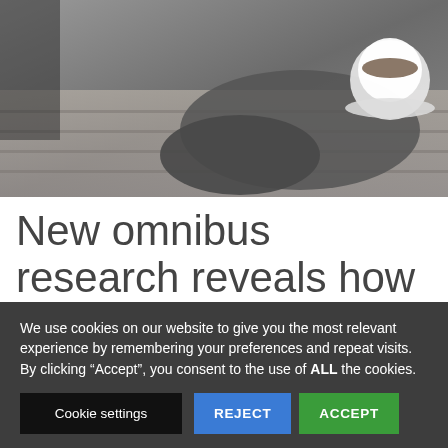[Figure (photo): Photo of a person's hands on a wooden desk with a coffee cup in the background]
New omnibus research reveals how Irish people consume media,
We use cookies on our website to give you the most relevant experience by remembering your preferences and repeat visits. By clicking “Accept”, you consent to the use of ALL the cookies.